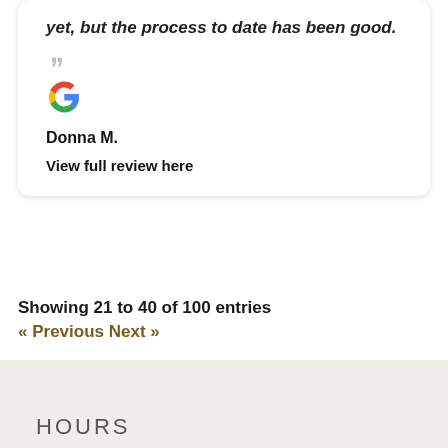yet, but the process to date has been good. "
[Figure (logo): Google G logo in red, blue, yellow, and green colors]
Donna M.
View full review here
Showing 21 to 40 of 100 entries
« Previous Next »
HOURS